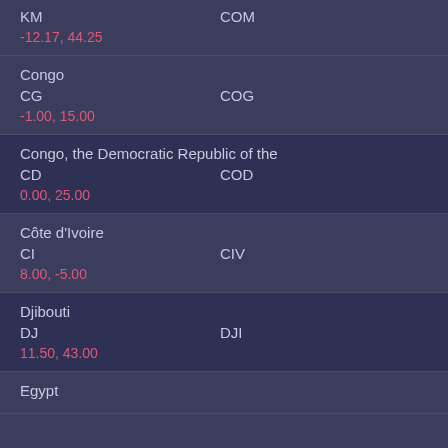| KM | COM | -12.17, 44.25 |
| Congo |  |  |
| CG | COG | -1.00, 15.00 |
| Congo, the Democratic Republic of the |  |  |
| CD | COD | 0.00, 25.00 |
| Côte d'Ivoire |  |  |
| CI | CIV | 8.00, -5.00 |
| Djibouti |  |  |
| DJ | DJI | 11.50, 43.00 |
| Egypt |  |  |